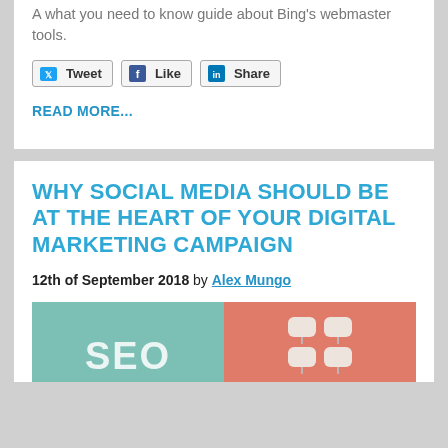A what you need to know guide about Bing's webmaster tools.
[Figure (other): Social sharing buttons: Tweet (Twitter), Like (Facebook), Share (LinkedIn)]
READ MORE...
WHY SOCIAL MEDIA SHOULD BE AT THE HEART OF YOUR DIGITAL MARKETING CAMPAIGN
12th of September 2018 by Alex Mungo
[Figure (illustration): Blog post header image split into two halves: left half teal/green background with large white text 'SEO', right half coral/salmon background with hanging white speech bubble icons]